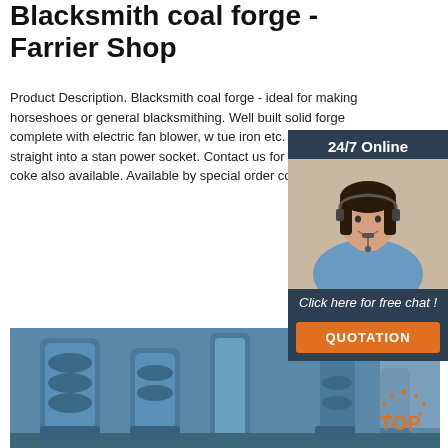Blacksmith coal forge - Farrier Shop
Product Description. Blacksmith coal forge - ideal for making horseshoes or general blacksmithing. Well built solid forge complete with electric fan blower, w tue iron etc. Ready to plug straight into a stan power socket. Contact us for shipping prices. I coke also available. Available by special order contact us.
[Figure (infographic): 24/7 Online chat widget with woman wearing headset, dark blue/teal background, orange QUOTATION button]
Get Price
[Figure (photo): Industrial blue machinery/equipment (pumps or valves) in a factory setting]
[Figure (logo): TOP logo with orange dots and text in bottom right corner]